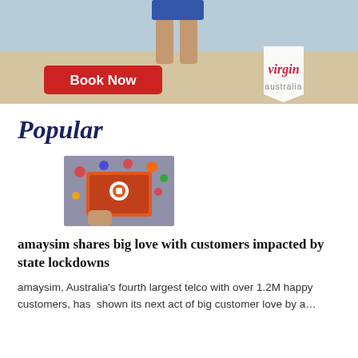[Figure (photo): Virgin Australia advertisement banner showing legs on a beach with a red 'Book Now' button and Virgin Australia logo]
Popular
[Figure (photo): Photo of a person holding a tablet displaying the amaysim app with social media icons floating above]
amaysim shares big love with customers impacted by state lockdowns
amaysim, Australia's fourth largest telco with over 1.2M happy customers, has  shown its next act of big customer love by a...